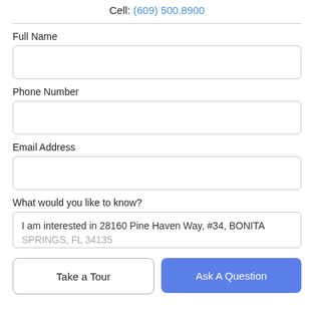Cell: (609) 500.8900
Full Name
Phone Number
Email Address
What would you like to know?
I am interested in 28160 Pine Haven Way, #34, BONITA SPRINGS, FL 34135
Take a Tour
Ask A Question